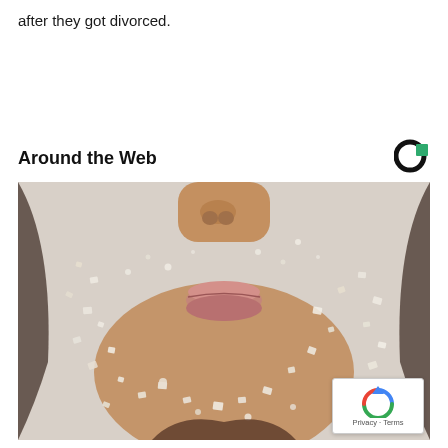after they got divorced.
Around the Web
[Figure (photo): Close-up photo of a person's lower face (nose, lips, chin, neck) covered in coarse salt or sugar crystals against a light grey background.]
Privacy · Terms